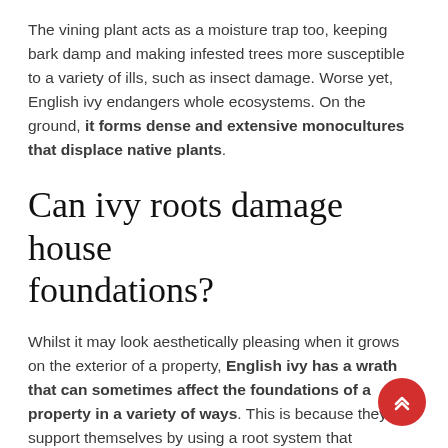The vining plant acts as a moisture trap too, keeping bark damp and making infested trees more susceptible to a variety of ills, such as insect damage. Worse yet, English ivy endangers whole ecosystems. On the ground, it forms dense and extensive monocultures that displace native plants.
Can ivy roots damage house foundations?
Whilst it may look aesthetically pleasing when it grows on the exterior of a property, English ivy has a wrath that can sometimes affect the foundations of a property in a variety of ways. This is because they support themselves by using a root system that penetrates through the brickwork.